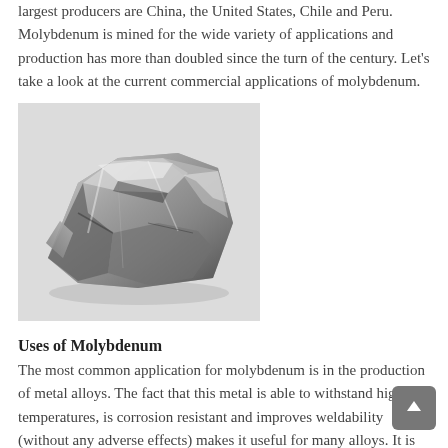largest producers are China, the United States, Chile and Peru. Molybdenum is mined for the wide variety of applications and production has more than doubled since the turn of the century. Let's take a look at the current commercial applications of molybdenum.
[Figure (photo): A shiny metallic chunk of molybdenum metal, silver-grey in color with a crystalline, faceted surface, photographed against a light grey background.]
Uses of Molybdenum
The most common application for molybdenum is in the production of metal alloys. The fact that this metal is able to withstand high temperatures, is corrosion resistant and improves weldability (without any adverse effects) makes it useful for many alloys. It is commonly used in alloys for structural steel, stainless steel, high-speed steel and superalloys. The ability to withstand heat makes it perfect for the manufacture of